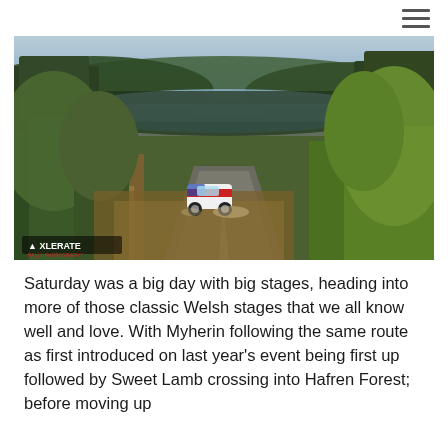≡
[Figure (photo): Rally car on a narrow forest road surrounded by conifer trees with a lake visible in the background. XLERATE watermark in the bottom left corner.]
Saturday was a big day with big stages, heading into more of those classic Welsh stages that we all know well and love. With Myherin following the same route as first introduced on last year's event being first up followed by Sweet Lamb crossing into Hafren Forest; before moving up to the Dyffryn stages and of course into Dyfi & Gartheiniog.